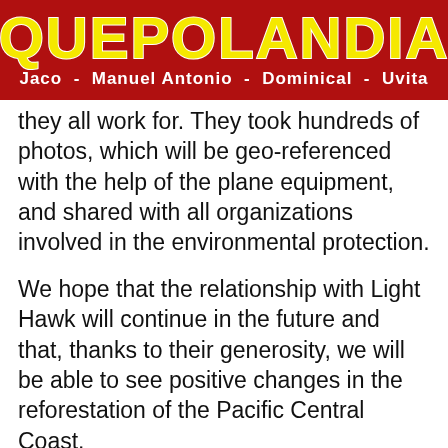[Figure (logo): Quepolandia logo banner with yellow text on dark red background, subtitle: Jaco - Manuel Antonio - Dominical - Uvita]
they all work for. They took hundreds of photos, which will be geo-referenced with the help of the plane equipment, and shared with all organizations involved in the environmental protection.
We hope that the relationship with Light Hawk will continue in the future and that, thanks to their generosity, we will be able to see positive changes in the reforestation of the Pacific Central Coast.
For more information, or to learn how you or your business can become involved, please visit www.monotiti.org